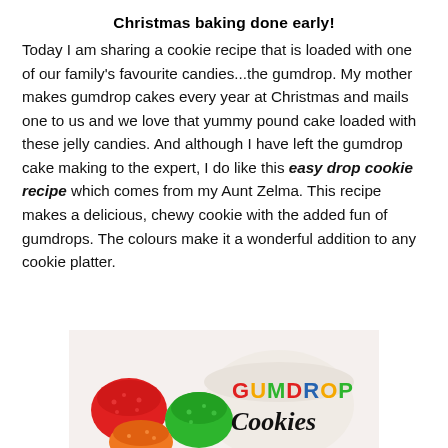Christmas baking done early!
Today I am sharing a cookie recipe that is loaded with one of our family's favourite candies...the gumdrop. My mother makes gumdrop cakes every year at Christmas and mails one to us and we love that yummy pound cake loaded with these jelly candies. And although I have left the gumdrop cake making to the expert, I do like this easy drop cookie recipe which comes from my Aunt Zelma. This recipe makes a delicious, chewy cookie with the added fun of gumdrops. The colours make it a wonderful addition to any cookie platter.
[Figure (photo): Photo of colorful gumdrop candies (red, green, orange) beside a bowl, with text 'GUMDROP Cookies' overlaid in multicolored letters]